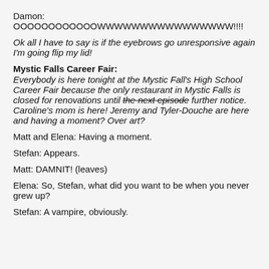Damon: OOOOOOOOOOOOWWWWWWWWWWWWWWWW!!!!
Ok all I have to say is if the eyebrows go unresponsive again I'm going flip my lid!
Mystic Falls Career Fair:
Everybody is here tonight at the Mystic Fall's High School Career Fair because the only restaurant in Mystic Falls is closed for renovations until the next episode further notice. Caroline's mom is here! Jeremy and Tyler-Douche are here and having a moment? Over art?
Matt and Elena: Having a moment.
Stefan: Appears.
Matt: DAMNIT! (leaves)
Elena: So, Stefan, what did you want to be when you never grew up?
Stefan: A vampire, obviously.